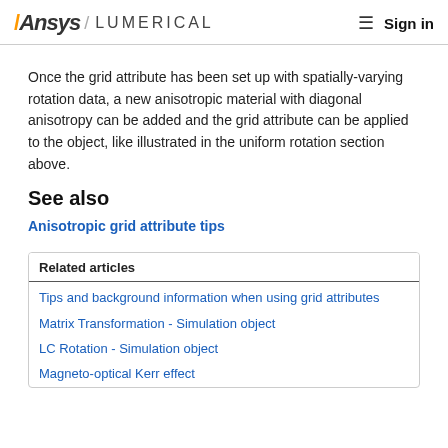Ansys / LUMERICAL   Sign in
Once the grid attribute has been set up with spatially-varying rotation data, a new anisotropic material with diagonal anisotropy can be added and the grid attribute can be applied to the object, like illustrated in the uniform rotation section above.
See also
Anisotropic grid attribute tips
Related articles
Tips and background information when using grid attributes
Matrix Transformation - Simulation object
LC Rotation - Simulation object
Magneto-optical Kerr effect